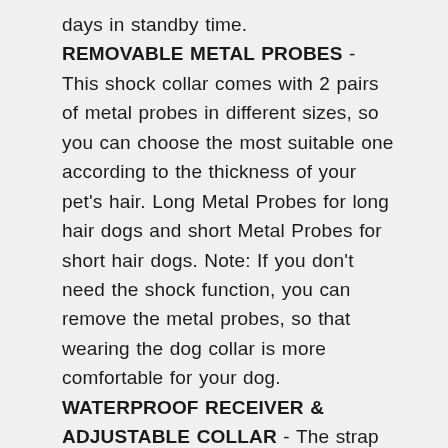days in standby time.
REMOVABLE METAL PROBES - This shock collar comes with 2 pairs of metal probes in different sizes, so you can choose the most suitable one according to the thickness of your pet's hair. Long Metal Probes for long hair dogs and short Metal Probes for short hair dogs. Note: If you don't need the shock function, you can remove the metal probes, so that wearing the dog collar is more comfortable for your dog.
WATERPROOF RECEIVER & ADJUSTABLE COLLAR - The strap of the dog shock collar can be adjusted from 9" - 26", suitable for small, medium, large dogs, 15-100 lbs dogs. And when your dog goes swimming, showering, or plays in the rain, you don't need to remove this waterproof receiver. Note: The remote is not waterproof. Please make sure the receiver